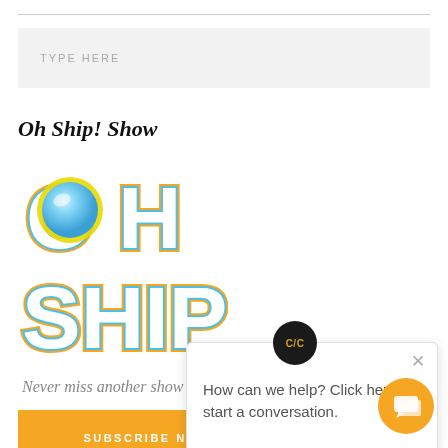TYPE HERE
Oh Ship! Show
[Figure (logo): OH SHIP! Show logo — colorful bubble letters with blue, yellow, orange, and white styling]
Never miss another show
SUBSCRIBE NOW
C/C
How can we help? Click here to start a conversation.